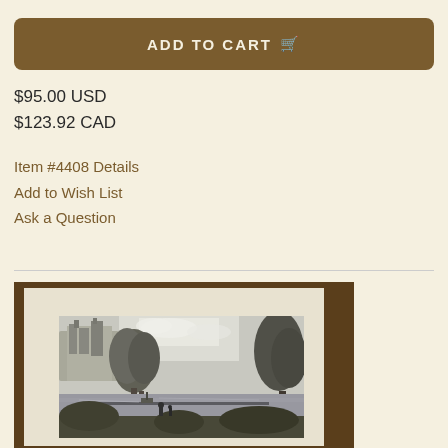ADD TO CART 🛒
$95.00 USD
$123.92 CAD
Item #4408 Details
Add to Wish List
Ask a Question
[Figure (photo): A photograph of an antique engraving print placed on a wooden surface. The print shows a pastoral landscape scene with trees, a river or lake, and a castle or ruins on a hill in the background. Two figures are visible in the foreground near the water. The engraving is in black and white/grey tones.]